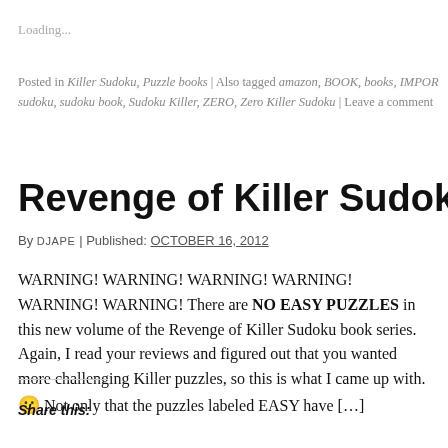Loading...
Posted in Killer Sudoku, Puzzle books | Also tagged amazon, BOOK, books, IMPOR sudoku, sudoku book, Sudoku Killer, ZERO, Zero Killer Sudoku | Leave a comment
Revenge of Killer Sudoku, volume 6
By DJAPE | Published: OCTOBER 16, 2012
WARNING! WARNING! WARNING! WARNING! WARNING! WARNING! There are NO EASY PUZZLES in this new volume of the Revenge of Killer Sudoku book series. Again, I read your reviews and figured out that you wanted more challenging Killer puzzles, so this is what I came up with. 🙂 Not only that the puzzles labeled EASY have […]
Share this: